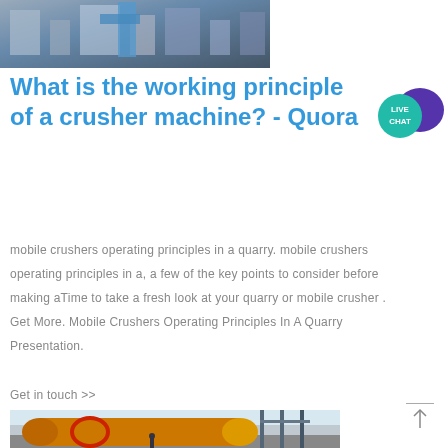[Figure (photo): Aerial/ground view of industrial crusher machine facility with buildings and equipment]
What is the working principle of a crusher machine? - Quora
[Figure (illustration): Live Chat badge/button with chat bubble icon]
mobile crushers operating principles in a quarry. mobile crushers operating principles in a, a few of the key points to consider before making aTime to take a fresh look at your quarry or mobile crusher . Get More. Mobile Crushers Operating Principles In A Quarry Presentation.
Get in touch >>
[Figure (photo): Large yellow industrial rotary drum/crusher machine at an industrial facility with workers and steel structures]